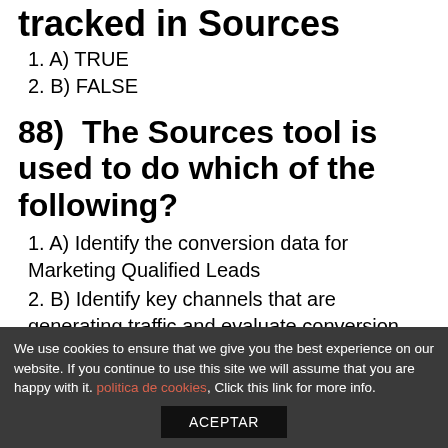tracked in Sources
1. A) TRUE
2. B) FALSE
88)  The Sources tool is used to do which of the following?
1. A) Identify the conversion data for Marketing Qualified Leads
2. B) Identify key channels that are generating traffic and evaluate conversion metrics for these channels to assess how well you
We use cookies to ensure that we give you the best experience on our website. If you continue to use this site we will assume that you are happy with it. politica de cookies, Click this link for more info.